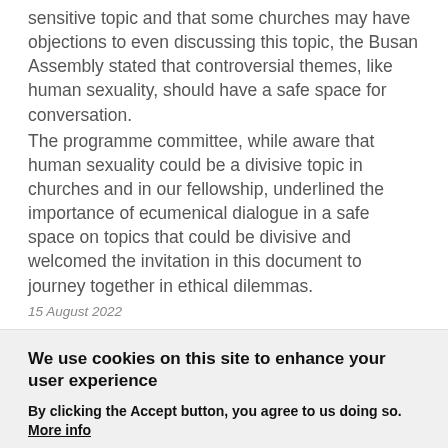sensitive topic and that some churches may have objections to even discussing this topic, the Busan Assembly stated that controversial themes, like human sexuality, should have a safe space for conversation. The programme committee, while aware that human sexuality could be a divisive topic in churches and in our fellowship, underlined the importance of ecumenical dialogue in a safe space on topics that could be divisive and welcomed the invitation in this document to journey together in ethical dilemmas.
15 August 2022
We use cookies on this site to enhance your user experience
By clicking the Accept button, you agree to us doing so. More info